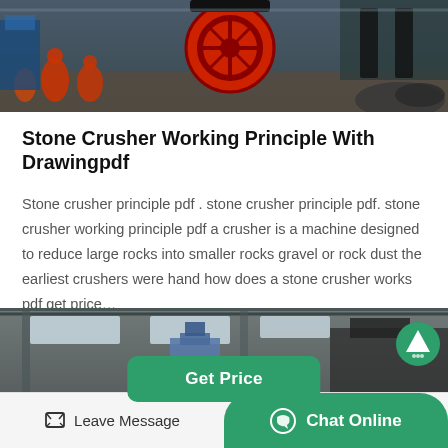[Figure (photo): Industrial factory scene with workers and large red mechanical wheel/gear equipment, overhead cranes visible in the background]
Stone Crusher Working Principle With Drawingpdf
Stone crusher principle pdf . stone crusher principle pdf. stone crusher working principle pdf a crusher is a machine designed to reduce large rocks into smaller rocks gravel or rock dust the earliest crushers were hand how does a stone crusher works pdf get price…
[Figure (photo): Interior of an industrial building/factory with skylights, blue metal structure or equipment visible]
Leave Message   Chat Online